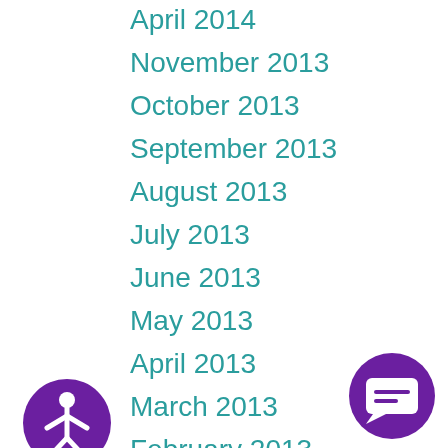April 2014
November 2013
October 2013
September 2013
August 2013
July 2013
June 2013
May 2013
April 2013
March 2013
February 2013
January 2013
December 2012